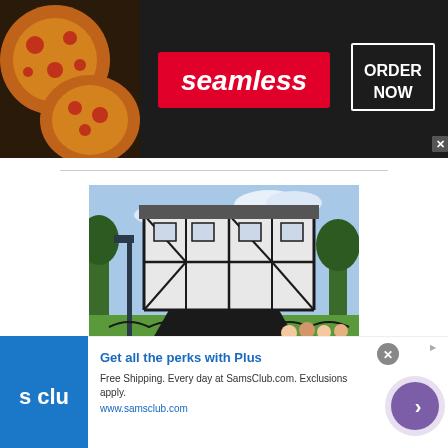[Figure (screenshot): Seamless food delivery advertisement banner with pizza image on left, red Seamless logo in center, and ORDER NOW button on right, on dark background]
[Figure (photo): Photo of an upside-down house (black and white half-timbered building) in a park setting in Kaliningrad, with people sitting on benches in front of a fence]
Backpacking in Kaliningrad: Top 25 Sightseeing Kaliningrad Cit...
[Figure (screenshot): Sam's Club advertisement with blue logo on left, text 'Get all the perks with Plus', Free Shipping offer, www.samsclub.com URL, and purple arrow circle button on right]